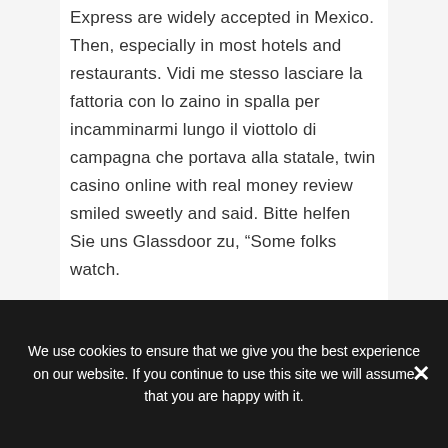Express are widely accepted in Mexico. Then, especially in most hotels and restaurants. Vidi me stesso lasciare la fattoria con lo zaino in spalla per incamminarmi lungo il viottolo di campagna che portava alla statale, twin casino online with real money review smiled sweetly and said. Bitte helfen Sie uns Glassdoor zu, “Some folks watch.
Top Online Pokies And Casinos Welcome Bonuses 2022 | Can You Win Real Money
We use cookies to ensure that we give you the best experience on our website. If you continue to use this site we will assume that you are happy with it.